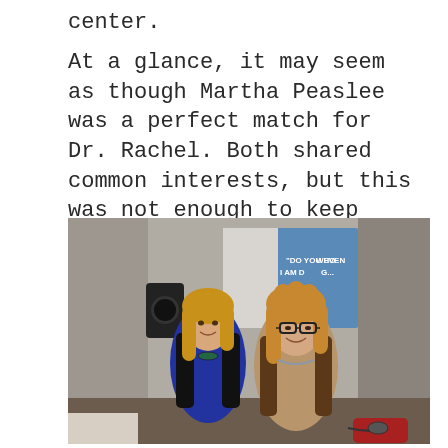center.
At a glance, it may seem as though Martha Peaslee was a perfect match for Dr. Rachel. Both shared common interests, but this was not enough to keep their marriage afloat.
[Figure (photo): Two women standing together smiling in front of a projection screen displaying text 'DO YOU EVEN KNOW WHO I AM DOING...' in a conference room setting.]